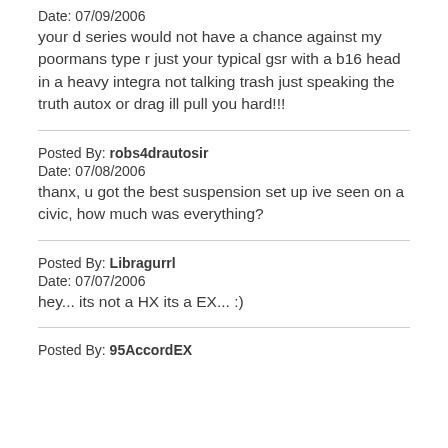Date: 07/09/2006
your d series would not have a chance against my poormans type r just your typical gsr with a b16 head in a heavy integra not talking trash just speaking the truth autox or drag ill pull you hard!!!
Posted By: robs4drautosir
Date: 07/08/2006
thanx, u got the best suspension set up ive seen on a civic, how much was everything?
Posted By: Libragurrl
Date: 07/07/2006
hey... its not a HX its a EX... :)
Posted By: 95AccordEX